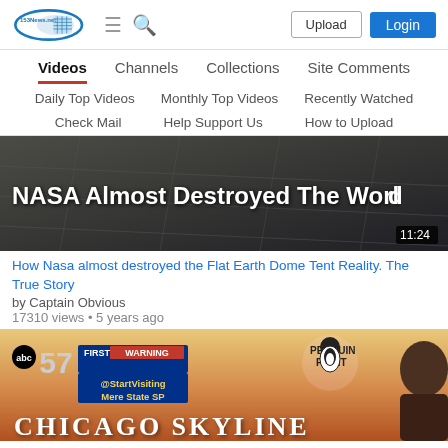153News.net — Upload | Login
Videos | Channels | Collections | Site Comments
Daily Top Videos | Monthly Top Videos | Recently Watched
Check Mail | Help Support Us | How to Upload
[Figure (screenshot): Video thumbnail for 'NASA Almost Destroyed The World' with duration badge 11:24]
How Nasa almost destroyed the Flat Earth Dome Tent Reality. The True Story
by Captain Obvious
17310 views • 5 years ago
[Figure (screenshot): Video thumbnail showing ABC 57 First Warning news broadcast with '@StartVisiting Mere State SP' and 'Penguin Point' logo, text 'CHICAGO SKYLINE' at bottom]